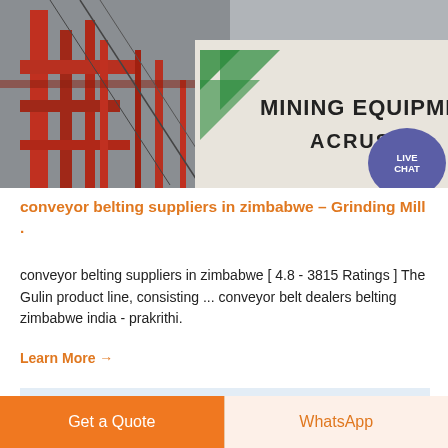[Figure (photo): Industrial mining equipment photo showing red metal scaffolding/structure on the left and a sign reading 'MINING EQUIPMENT ACRUS' with green diagonal stripes on the right. A purple live chat bubble overlay is visible in the lower right corner.]
conveyor belting suppliers in zimbabwe – Grinding Mill .
conveyor belting suppliers in zimbabwe [ 4.8 - 3815 Ratings ] The Gulin product line, consisting ... conveyor belt dealers belting zimbabwe india - prakrithi.
Learn More →
[Figure (photo): Outdoor industrial/mining scene with light sky background and equipment silhouettes visible at the bottom.]
Get a Quote
WhatsApp